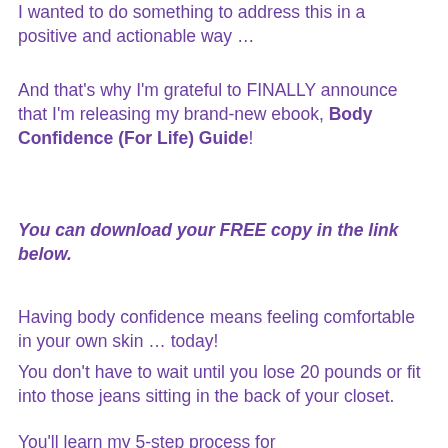I wanted to do something to address this in a positive and actionable way …
And that's why I'm grateful to FINALLY announce that I'm releasing my brand-new ebook, Body Confidence (For Life) Guide!
You can download your FREE copy in the link below.
Having body confidence means feeling comfortable in your own skin … today!
You don't have to wait until you lose 20 pounds or fit into those jeans sitting in the back of your closet.
You'll learn my 5-step process for